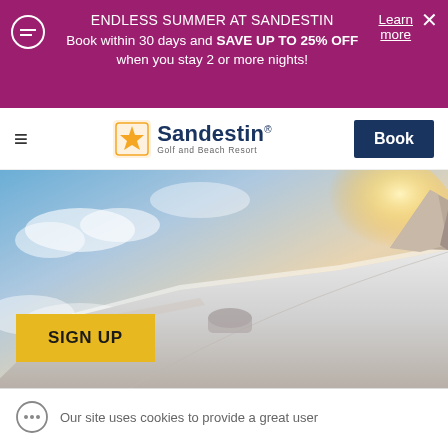ENDLESS SUMMER AT SANDESTIN Book within 30 days and SAVE UP TO 25% OFF when you stay 2 or more nights!
Learn more
[Figure (logo): Sandestin Golf and Beach Resort logo with yellow star/sunburst icon]
Book
[Figure (photo): Airplane wing viewed from passenger window against sunny sky with clouds]
SIGN UP
Our site uses cookies to provide a great user